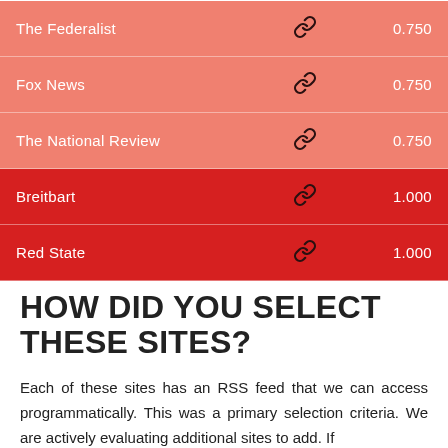|  |  |  |
| --- | --- | --- |
| The Federalist | 🔗 | 0.750 |
| Fox News | 🔗 | 0.750 |
| The National Review | 🔗 | 0.750 |
| Breitbart | 🔗 | 1.000 |
| Red State | 🔗 | 1.000 |
HOW DID YOU SELECT THESE SITES?
Each of these sites has an RSS feed that we can access programmatically. This was a primary selection criteria. We are actively evaluating additional sites to add. If